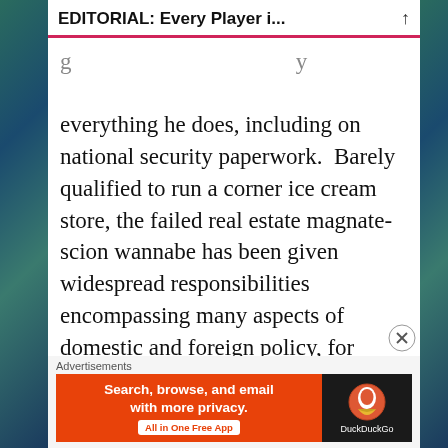EDITORIAL: Every Player i...
everything he does, including on national security paperwork.  Barely qualified to run a corner ice cream store, the failed real estate magnate-scion wannabe has been given widespread responsibilities encompassing many aspects of domestic and foreign policy, for which he shows zero aptitude or original thought beyond family loyalty.  It is a brazen nepotism play that is highly unethical, if barely legal
[Figure (screenshot): DuckDuckGo advertisement banner: orange background with text 'Search, browse, and email with more privacy. All in One Free App' and DuckDuckGo logo on dark background]
Advertisements